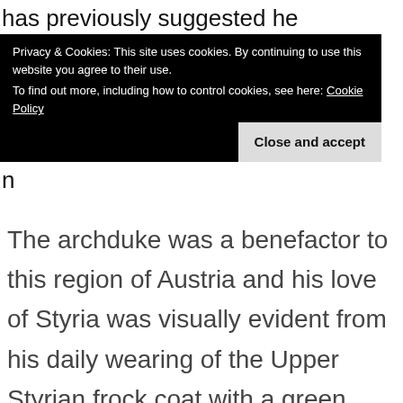has previously suggested he perceives himself as s
Privacy & Cookies: This site uses cookies. By continuing to use this website you agree to their use.
To find out more, including how to control cookies, see here: Cookie Policy
Close and accept
n
The archduke was a benefactor to this region of Austria and his love of Styria was visually evident from his daily wearing of the Upper Styrian frock coat with a green fringe.